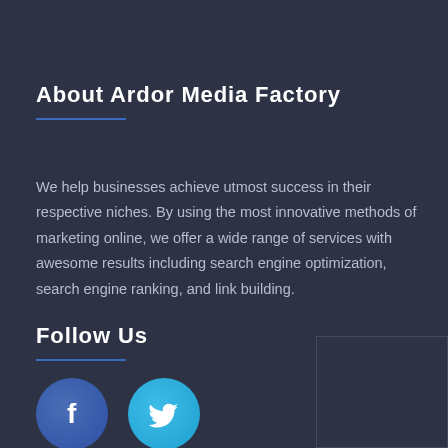About Ardor Media Factory
We help businesses achieve utmost success in their respective niches. By using the most innovative methods of marketing online, we offer a wide range of services with awesome results including search engine optimization, search engine ranking, and link building.
Follow Us
[Figure (illustration): Facebook and Twitter social media icons (circles with f and bird logos)]